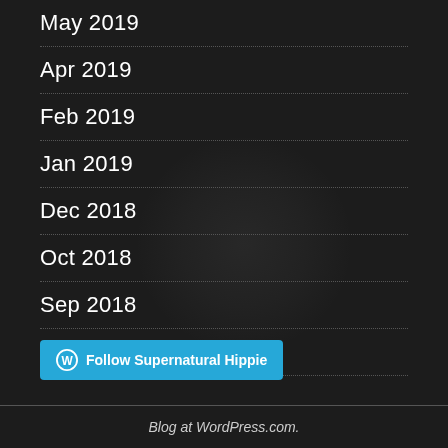May 2019
Apr 2019
Feb 2019
Jan 2019
Dec 2018
Oct 2018
Sep 2018
Apr 2018
Follow Supernatural Hippie
Blog at WordPress.com.